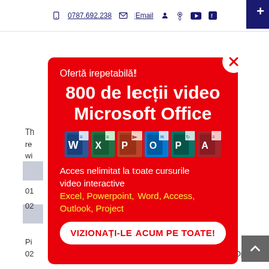0787.692.238  Email
[Figure (screenshot): Modal popup on a website with red background advertising '800 de lecții video Microsoft Office'. Contains app icons for Word, Excel, PowerPoint, Outlook, Publisher, Access. Body text: 'Acces nelimitat la toate cursurile video interactive Excel, Powerpoint, Word, Access, Outlook, Project'. CTA button: 'VIZIONAȚI-LE ACUM PE TOATE!']
Th... nd unpivot re... oupings wi...
Pi...
01... OT
02...
01... rator
02... Operator